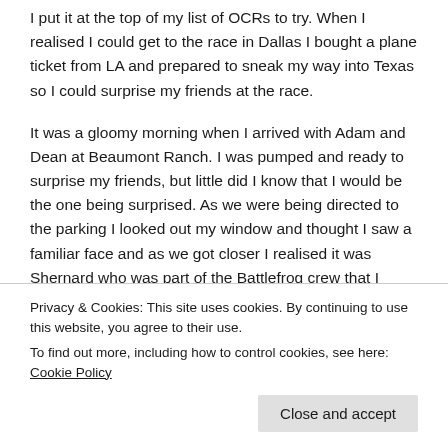I put it at the top of my list of OCRs to try. When I realised I could get to the race in Dallas I bought a plane ticket from LA and prepared to sneak my way into Texas so I could surprise my friends at the race.
It was a gloomy morning when I arrived with Adam and Dean at Beaumont Ranch. I was pumped and ready to surprise my friends, but little did I know that I would be the one being surprised. As we were being directed to the parking I looked out my window and thought I saw a familiar face and as we got closer I realised it was Shernard who was part of the Battlefrog crew that I worked with. I waved and
Privacy & Cookies: This site uses cookies. By continuing to use this website, you agree to their use.
To find out more, including how to control cookies, see here: Cookie Policy
Close and accept
so I went up and stood there until he saw me. When